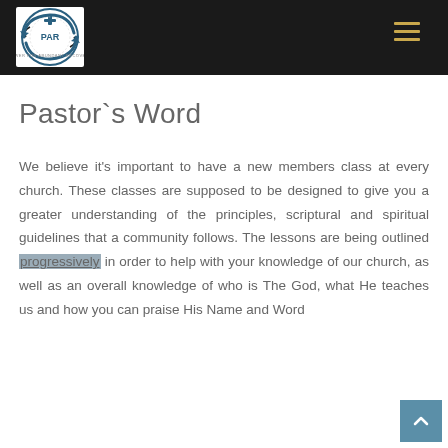PAR - Power for Abundant Recovery [logo and navigation]
Pastor`s Word
We believe it's important to have a new members class at every church. These classes are supposed to be designed to give you a greater understanding of the principles, scriptural and spiritual guidelines that a community follows. The lessons are being outlined progressively in order to help with your knowledge of our church, as well as an overall knowledge of who is The God, what He teaches us and how you can praise His Name and Word